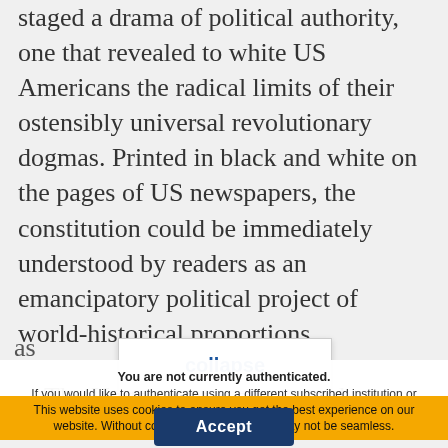staged a drama of political authority, one that revealed to white US Americans the radical limits of their ostensibly universal revolutionary dogmas. Printed in black and white on the pages of US newspapers, the constitution could be immediately understood by readers as an emancipatory political project of world-historical proportions.
The United States and Haiti have each too frequently been read in exceptional terms: as the world's rich[...] and as its poorest, as [...]
collapse
You are not currently authenticated. If you would like to authenticate using a different subscribed institution or
This website uses cookies to ensure you get the best experience on our website. Without cookies your experience may not be seamless.
Accept